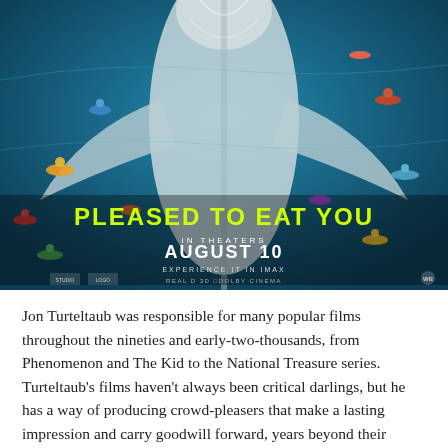[Figure (photo): Movie poster for 'The Meg' showing aerial view of a massive shark beneath surfers and swimmers on the ocean surface. Text reads 'PLEASED TO EAT YOU', 'IN THEATERS AUGUST 10', 'EXPERIENCE IT IN IMAX', 'REAL D 3D', 'DOLBY CINEMA'. Various studio logos visible at bottom.]
Jon Turteltaub was responsible for many popular films throughout the nineties and early-two-thousands, from Phenomenon and The Kid to the National Treasure series. Turteltaub's films haven't always been critical darlings, but he has a way of producing crowd-pleasers that make a lasting impression and carry goodwill forward, years beyond their release dates.  His profile has...